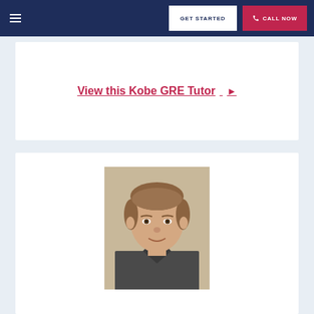GET STARTED | CALL NOW
View this Kobe GRE Tutor ▶
[Figure (photo): Headshot photo of a young male GRE tutor with short brown hair, wearing a dark collared shirt, smiling slightly against a neutral background.]